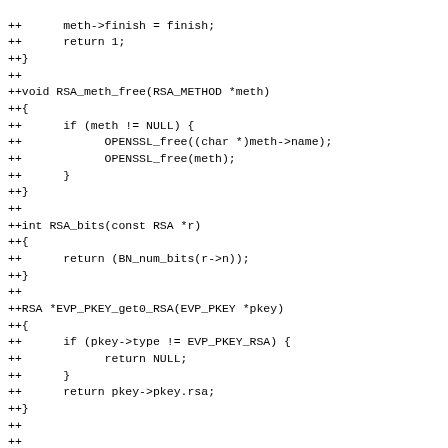++      meth->finish = finish;
++      return 1;
++}
++
++void RSA_meth_free(RSA_METHOD *meth)
++{
++      if (meth != NULL) {
++            OPENSSL_free((char *)meth->name);
++            OPENSSL_free(meth);
++      }
++}
++
++int RSA_bits(const RSA *r)
++{
++      return (BN_num_bits(r->n));
++}
++
++RSA *EVP_PKEY_get0_RSA(EVP_PKEY *pkey)
++{
++      if (pkey->type != EVP_PKEY_RSA) {
++            return NULL;
++      }
++      return pkey->pkey.rsa;
++}
++
++
++#endif /* OPENSSL_VERSION_NUMBER */
+diff --git a/plugins/qca-ossl/libcrypto-compat.h b/plugins/qca-ossl/libcrypto-compat.h
+index e69de29..057f1fe 100644
+--- a/plugins/qca-ossl/libcrypto-compat.h